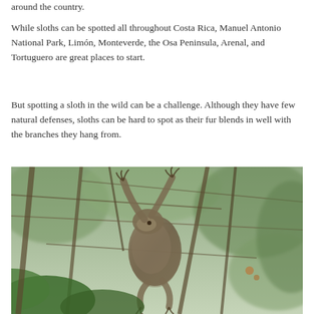around the country.
While sloths can be spotted all throughout Costa Rica, Manuel Antonio National Park, Limón, Monteverde, the Osa Peninsula, Arenal, and Tortuguero are great places to start.
But spotting a sloth in the wild can be a challenge. Although they have few natural defenses, sloths can be hard to spot as their fur blends in well with the branches they hang from.
[Figure (photo): A three-toed sloth hanging from branches in a tree canopy, surrounded by green leaves and thin branches. The sloth's brownish-grey fur blends with the tree branches. Photo taken in a tropical forest setting.]